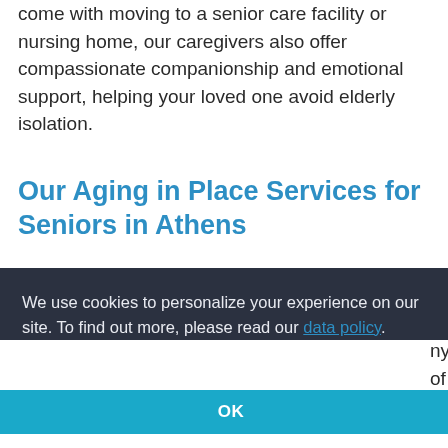come with moving to a senior care facility or nursing home, our caregivers also offer compassionate companionship and emotional support, helping your loved one avoid elderly isolation.
Our Aging in Place Services for Seniors in Athens
At Visiting Angels Athens, we offer a wide
We use cookies to personalize your experience on our site. To find out more, please read our data policy.
OK